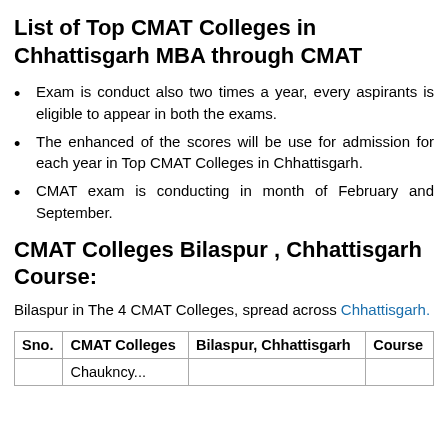List of Top CMAT Colleges in Chhattisgarh MBA through CMAT
Exam is conduct also two times a year, every aspirants is eligible to appear in both the exams.
The enhanced of the scores will be use for admission for each year in Top CMAT Colleges in Chhattisgarh.
CMAT exam is conducting in month of February and September.
CMAT Colleges Bilaspur , Chhattisgarh Course:
Bilaspur in The 4 CMAT Colleges, spread across Chhattisgarh.
| Sno. | CMAT Colleges | Bilaspur, Chhattisgarh | Course |
| --- | --- | --- | --- |
|  | Chaukncy... |  |  |